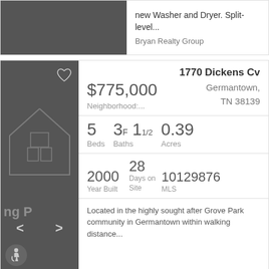new Washer and Dryer. Split-level...
Bryan Realty Group
[Figure (photo): Dark gray property photo thumbnail]
[Figure (photo): Dark gray property photo with house outline illustration and navigation arrows, accessibility icon, heart icon]
1770 Dickens Cv
$775,000
Germantown, TN 38139
Neighborhood:...
5 Beds
3F 11/2 Baths
0.39 Acres
2000 Year Built
28 Days on Site
10129876 MLS
Located in the highly sought after Grove Park community in Germantown within walking distance...